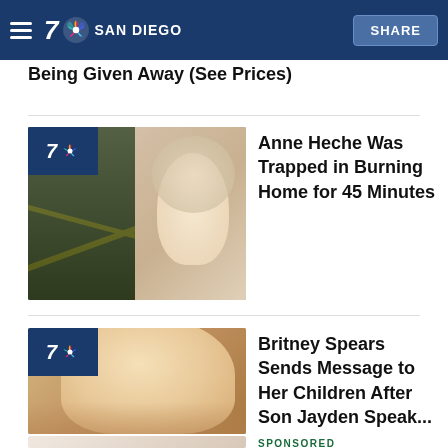7 NBC SAN DIEGO | SHARE
Ashburn: Unsold Jeep Suvs Now Are Being Given Away (See Prices)
[Figure (photo): NBC 7 San Diego branded thumbnail with crime scene tape on left and Anne Heche portrait on right]
Anne Heche Was Trapped in Burning Home for 45 Minutes
[Figure (photo): NBC 7 San Diego branded thumbnail with Britney Spears portrait]
Britney Spears Sends Message to Her Children After Son Jayden Speak...
[Figure (photo): Partially visible thumbnail for sponsored article]
SPONSORED
Truncated headline text partially visible